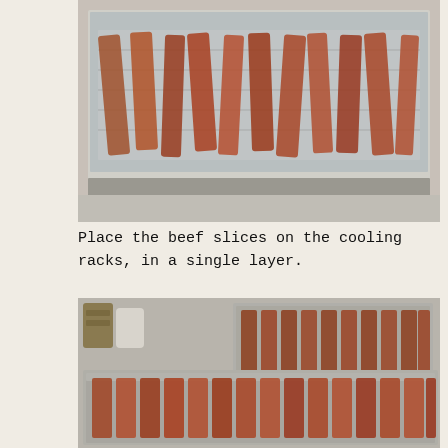[Figure (photo): Beef slices arranged in a single layer on a wire cooling rack placed on a foil-lined baking sheet, on a countertop.]
Place the beef slices on the cooling racks, in a single layer.
[Figure (photo): Two baking sheets with wire cooling racks holding marinated beef slices in single layers, on a kitchen countertop. Ceramic containers visible in the background.]